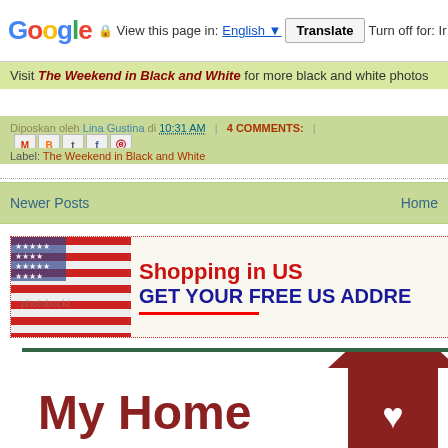Google | View this page in: English ▼ | Translate | Turn off for: Ir
Visit The Weekend in Black and White for more black and white photos
Diposkan oleh Lina Gustina di 10:31 AM | 4 COMMENTS: | [social icons]
Label: The Weekend in Black and White
Newer Posts | Home
[Figure (screenshot): Shopping in US - GET YOUR FREE US ADDRESS advertisement banner with US flag]
[Figure (screenshot): My Home widget with dark red house icon and white heart]